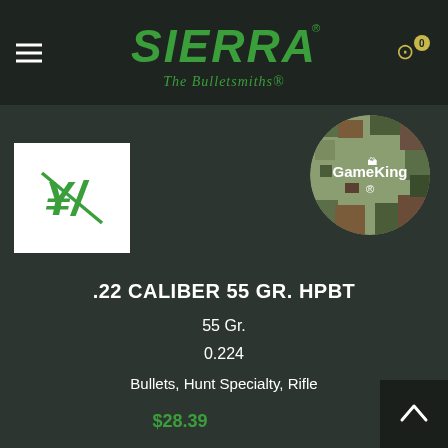[Figure (logo): Sierra Bullets 'The Bulletsmiths' logo in green on dark header bar]
[Figure (logo): GameKing circular camouflage badge logo]
[Figure (illustration): White square product image box with green shopping cart icon (no product photo available)]
.22 CALIBER 55 GR. HPBT
55 Gr.
0.224
Bullets, Hunt Specialty, Rifle
$28.39